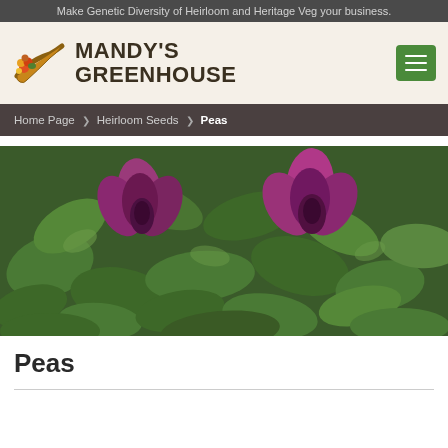Make Genetic Diversity of Heirloom and Heritage Veg your business.
MANDY'S GREENHOUSE
Home Page › Heirloom Seeds › Peas
[Figure (photo): Close-up photograph of pea plants with purple/magenta flowers and green leaves]
Peas